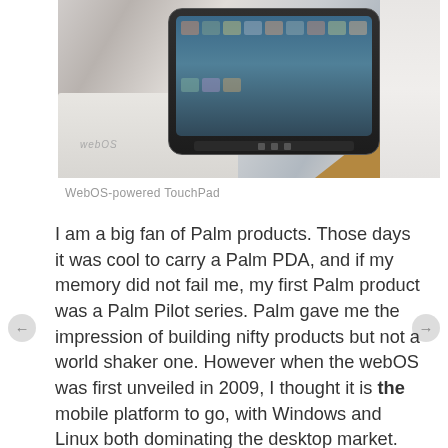[Figure (photo): Photo of a WebOS-powered HP TouchPad tablet device on its box packaging, with white/grey background]
WebOS-powered TouchPad
I am a big fan of Palm products. Those days it was cool to carry a Palm PDA, and if my memory did not fail me, my first Palm product was a Palm Pilot series. Palm gave me the impression of building nifty products but not a world shaker one. However when the webOS was first unveiled in 2009, I thought it is the mobile platform to go, with Windows and Linux both dominating the desktop market. The thoughts of web connected device, taking advantage of the Web 2.0 technologies, was just salivating.